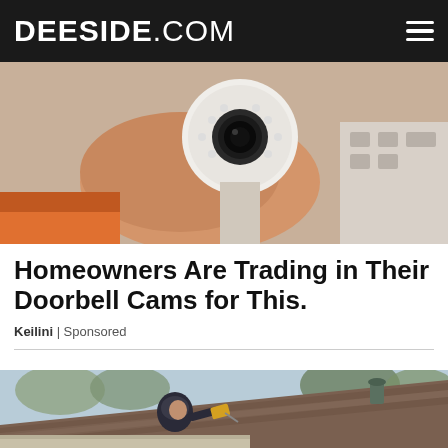DEESIDE.COM
[Figure (photo): A hand holding a white circular security camera with LED lights, with an orange power tool visible in the background]
Homeowners Are Trading in Their Doorbell Cams for This.
Keilini | Sponsored
[Figure (photo): A person in a dark hoodie using a power drill on the edge of a roof with red/brown shingles, trees visible in background]